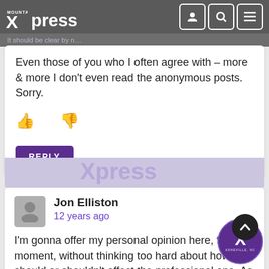Mountain Xpress
Even those of you who I often agree with – more & more I don't even read the anonymous posts. Sorry.
REPLY
Jon Elliston
12 years ago
I'm gonna offer my personal opinion here, for a moment, without thinking too hard about how it should or shouldn't affect the professional one. As someone who tries to make this both a freewheeling forum and a place of real discussion, what Barry just said, and Cecil before him on this topic, strikes a very deep chord with me.